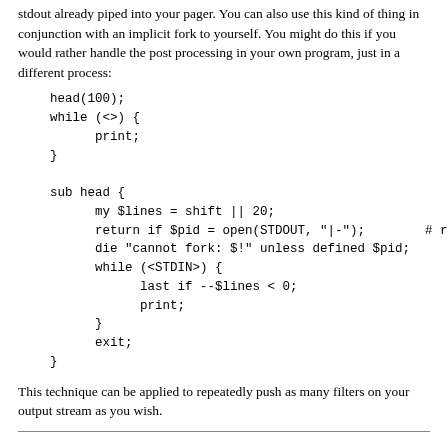stdout already piped into your pager. You can also use this kind of thing in conjunction with an implicit fork to yourself. You might do this if you would rather handle the post processing in your own program, just in a different process:
head(100);
while (<>) {
    print;
}

sub head {
    my $lines = shift || 20;
    return if $pid = open(STDOUT, "|-");      # retu
    die "cannot fork: $!" unless defined $pid;
    while (<STDIN>) {
        last if --$lines < 0;
        print;
    }
    exit;
}
This technique can be applied to repeatedly push as many filters on your output stream as you wish.
Other I/O Issues